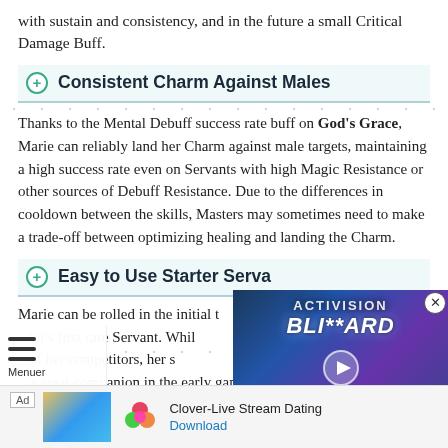with sustain and consistency, and in the future a small Critical Damage Buff.
Consistent Charm Against Males
Thanks to the Mental Debuff success rate buff on God's Grace, Marie can reliably land her Charm against male targets, maintaining a high success rate even on Servants with high Magic Resistance or other sources of Debuff Resistance. Due to the differences in cooldown between the skills, Masters may sometimes need to make a trade-off between optimizing healing and landing the Charm.
Easy to Use Starter Serva…
Marie can be rolled in the initial t… ter's first rare Servant. Whil… of her competitors, her s… a great companion in the early game when resources and…
[Figure (screenshot): Activision Blizzard video overlay with play button and news ticker showing 'Saudi Arabia has become the first regulatory authority to approve Microsoft's Activision Blizzard deal']
[Figure (other): Advertisement bar: Clover-Live Stream Dating app ad with Download link]